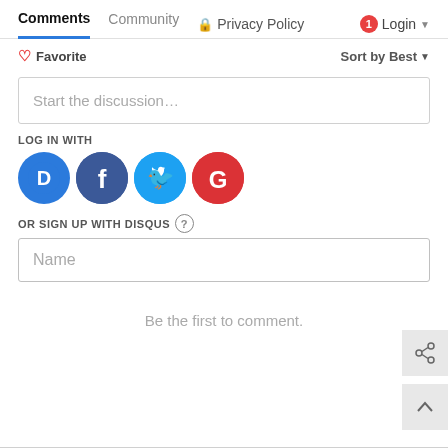Comments  Community  Privacy Policy  1  Login
Favorite   Sort by Best
Start the discussion…
LOG IN WITH
[Figure (illustration): Social login icons: Disqus (D), Facebook (f), Twitter bird, Google (G)]
OR SIGN UP WITH DISQUS ?
Name
Be the first to comment.